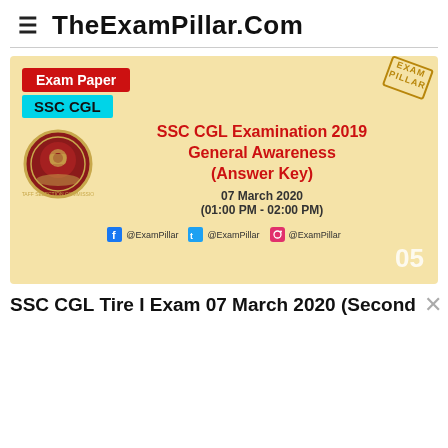TheExamPillar.Com
[Figure (infographic): SSC CGL Exam Paper banner with red 'Exam Paper' badge, cyan 'SSC CGL' badge, SSC seal logo on left, red bold text 'SSC CGL Examination 2019 General Awareness (Answer Key)', date '07 March 2020 (01:00 PM - 02:00 PM)', social handles for @ExamPillar on Facebook, Twitter, Instagram, slide number 05 bottom right, on beige/cream background]
SSC CGL Tire I Exam 07 March 2020 (Second